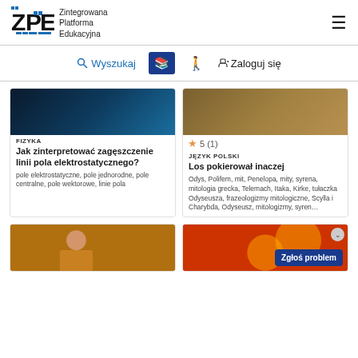ZPE – Zintegrowana Platforma Edukacyjna
Wyszukaj   Zaloguj się
[Figure (screenshot): Physics card image – dark blue gradient background]
FIZYKA
Jak zinterpretować zagęszczenie linii pola elektrostatycznego?
pole elektrostatyczne, pole jednorodne, pole centralne, pole wektorowe, linie pola
[Figure (screenshot): Polish language card image – brown/tan gradient]
5 (1)
JĘZYK POLSKI
Los pokierował inaczej
Odys, Polifem, mit, Penelopa, mity, syrena, mitologia grecka, Telemach, Itaka, Kirke, tułaczka Odyseusza, frazeologizmy mitologiczne, Scylla i Charybda, Odyseusz, mitologizmy, syren…
[Figure (photo): Bottom left card – person in yellow/orange jacket]
[Figure (photo): Bottom right card – red/orange colorful image with Zgłoś problem button]